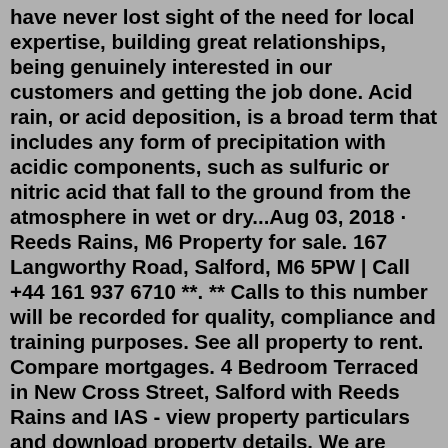have never lost sight of the need for local expertise, building great relationships, being genuinely interested in our customers and getting the job done. Acid rain, or acid deposition, is a broad term that includes any form of precipitation with acidic components, such as sulfuric or nitric acid that fall to the ground from the atmosphere in wet or dry...Aug 03, 2018 · Reeds Rains, M6 Property for sale. 167 Langworthy Road, Salford, M6 5PW | Call +44 161 937 6710 **. ** Calls to this number will be recorded for quality, compliance and training purposes. See all property to rent. Compare mortgages. 4 Bedroom Terraced in New Cross Street, Salford with Reeds Rains and IAS - view property particulars and download property details. We are using cookies to give you the best experience on our website. Cookies are files stored in your browser and are used by most websites to help personalise your web experience. ... New Cross Street, Salford ...Reeds Rains - Salford, M6 +44 161 937 6710 ** Contact Save Hide Let agreed 10 £425 pcm (£98 pw) 1 Tenancy information